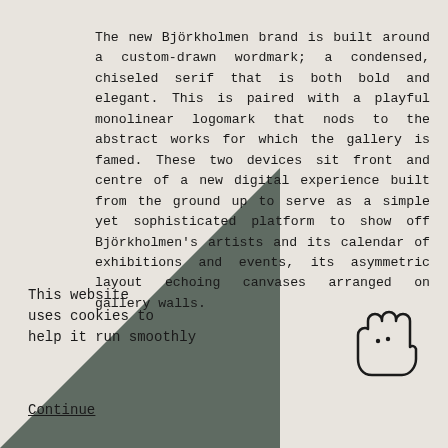The new Björkholmen brand is built around a custom-drawn wordmark; a condensed, chiseled serif that is both bold and elegant. This is paired with a playful monolinear logomark that nods to the abstract works for which the gallery is famed. These two devices sit front and centre of a new digital experience built from the ground up to serve as a simple yet sophisticated platform to show off Björkholmen's artists and its calendar of exhibitions and events, its asymmetric layout echoing canvases arranged on gallery walls.
This website uses cookies to help it run smoothly
Continue
[Figure (illustration): A simple line-art illustration of a hand with two small dots resembling eyes, giving it a face-like quality]